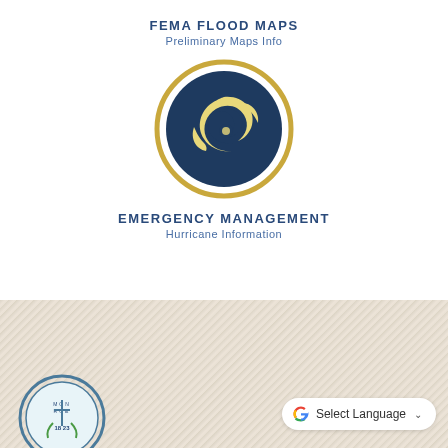FEMA FLOOD MAPS
Preliminary Maps Info
[Figure (illustration): Hurricane/emergency management icon: a dark navy blue circle with a gold/yellow hurricane spiral symbol inside, surrounded by a gold circular ring border on white background]
EMERGENCY MANAGEMENT
Hurricane Information
[Figure (logo): Monroe County seal/logo partially visible at bottom left]
Select Language